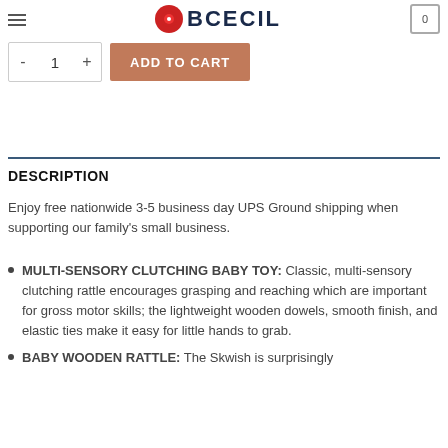BCECIL [logo/nav bar]
- 1 + ADD TO CART
DESCRIPTION
Enjoy free nationwide 3-5 business day UPS Ground shipping when supporting our family’s small business.
MULTI-SENSORY CLUTCHING BABY TOY: Classic, multi-sensory clutching rattle encourages grasping and reaching which are important for gross motor skills; the lightweight wooden dowels, smooth finish, and elastic ties make it easy for little hands to grab.
BABY WOODEN RATTLE: The Skwish is surprisingly